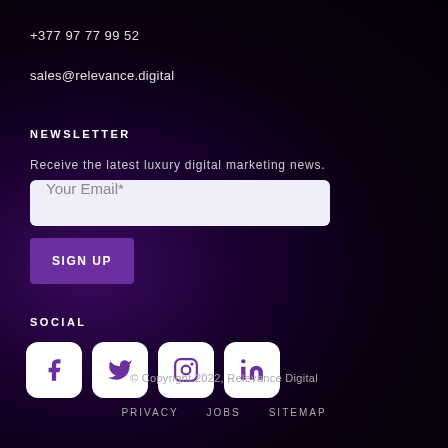+377 97 77 99 52
sales@relevance.digital
NEWSLETTER
Receive the latest luxury digital marketing news.
Your Email*
SIGN UP
SOCIAL
[Figure (other): Social media icons: Facebook, Twitter, Instagram, LinkedIn — white rounded square buttons with purple icons]
© Copyright 2022, Relevance Digital
PRIVACY   JOBS   SITEMAP